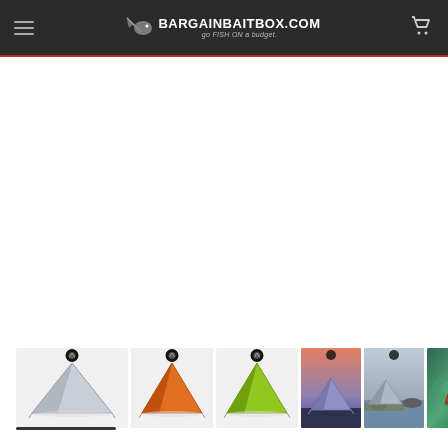BargainBaitBox.com — go FISH ON a budget.
[Figure (photo): Product thumbnail strip showing six tent images: three standalone tent photos on white background (gray tent, orange tent, lime-green tent) and three outdoor scene photos (purple tent at dusk, gray tent by rocky shore, orange tent in water/aerial view). A horizontal scroll indicator bar sits below the first thumbnail.]